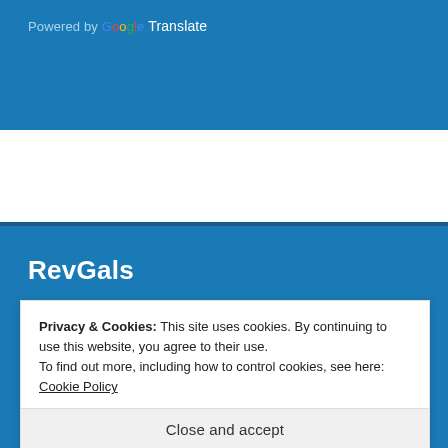Powered by Google Translate
RevGals
[Figure (logo): RevGalBlogPals colorful logo with curved lines and circles in red, pink, blue, green, yellow colors forming an abstract flower/people design, with text 'RevGalBlogPals' partially visible]
Privacy & Cookies: This site uses cookies. By continuing to use this website, you agree to their use.
To find out more, including how to control cookies, see here: Cookie Policy
Close and accept